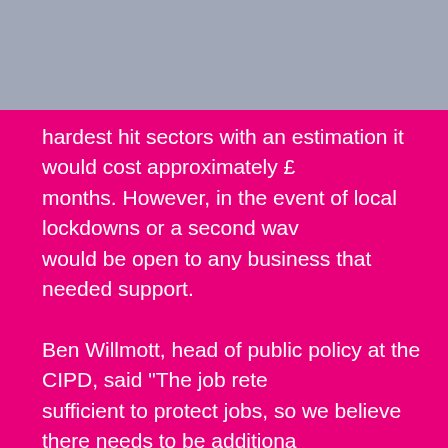hardest hit sectors with an estimation it would cost approximately £ months. However, in the event of local lockdowns or a second wav would be open to any business that needed support.
Ben Willmott, head of public policy at the CIPD, said "The job reten sufficient to protect jobs, so we believe there needs to be additiona sense to develop a more targeted support system to enable firms t through reduced hours, like through some form of short time worki would support workforce flexibility, particularly for key sectors that make significant redundancies if the furlough scheme ends and the replace it."
What do you think?